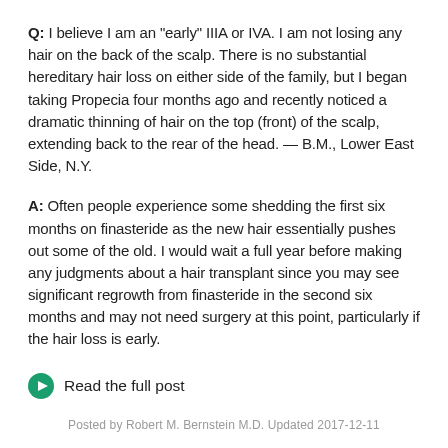Q: I believe I am an "early" IIIA or IVA. I am not losing any hair on the back of the scalp. There is no substantial hereditary hair loss on either side of the family, but I began taking Propecia four months ago and recently noticed a dramatic thinning of hair on the top (front) of the scalp, extending back to the rear of the head. — B.M., Lower East Side, N.Y.
A: Often people experience some shedding the first six months on finasteride as the new hair essentially pushes out some of the old. I would wait a full year before making any judgments about a hair transplant since you may see significant regrowth from finasteride in the second six months and may not need surgery at this point, particularly if the hair loss is early.
Read the full post
Posted by Robert M. Bernstein M.D. Updated 2017-12-11